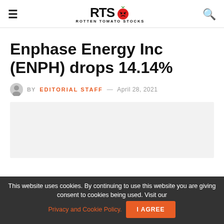RTS Rotten Tomato Stocks
Enphase Energy Inc (ENPH) drops 14.14%
BY EDITORIAL STAFF — April 28, 2021
[Figure (other): Advertisement placeholder gray box]
This website uses cookies. By continuing to use this website you are giving consent to cookies being used. Visit our Privacy and Cookie Policy. I Agree